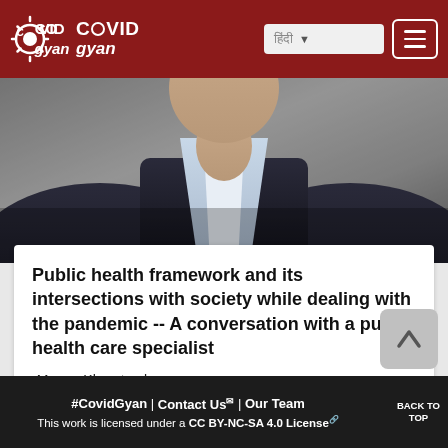COVID Gyan
[Figure (photo): Partial view of a person wearing a light blue shirt and dark jacket, torso only visible]
Public health framework and its intersections with society while dealing with the pandemic -- A conversation with a public health care specialist
-Meena Kharatmal,
#CovidGyan | Contact Us | Our Team
This work is licensed under a CC BY-NC-SA 4.0 License